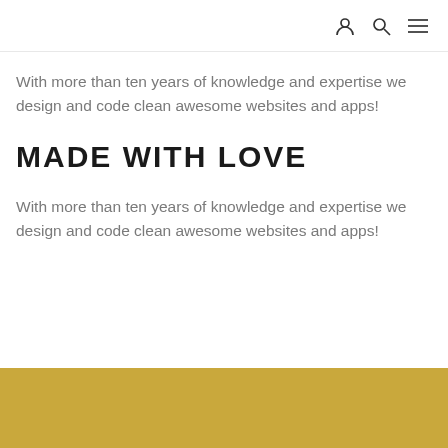[navigation icons: user, search, menu]
With more than ten years of knowledge and expertise we design and code clean awesome websites and apps!
MADE WITH LOVE
With more than ten years of knowledge and expertise we design and code clean awesome websites and apps!